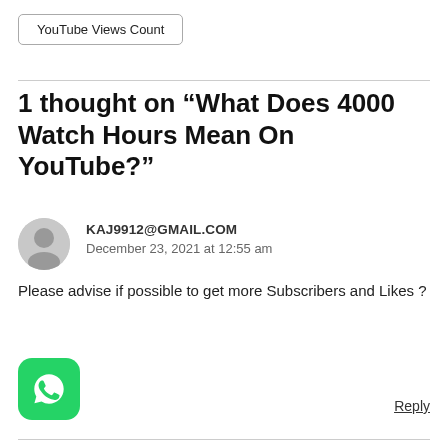YouTube Views Count
1 thought on “What Does 4000 Watch Hours Mean On YouTube?”
KAJ9912@GMAIL.COM
December 23, 2021 at 12:55 am
Please advise if possible to get more Subscribers and Likes ?
[Figure (logo): WhatsApp logo icon (green rounded square with white phone handset)]
Reply